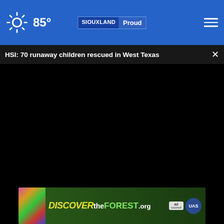85° SIOUXLAND Proud
HSI: 70 runaway children rescued in West Texas ×
[Figure (screenshot): Black video player area with scrubber bar at bottom left and time display 00:00, play button, mute button, and fullscreen button in dark controls bar]
[Figure (photo): Partial view of person's hands cupped together, wearing denim, with a circular X close button overlay]
[Figure (infographic): DISCOVERtheFOREST.org advertisement banner with colorful forest imagery, ad council and US Forest Service logos]